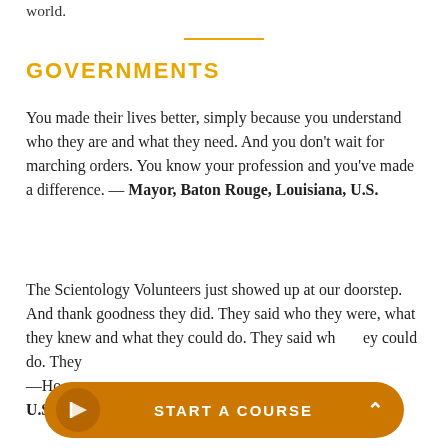world.
GOVERNMENTS
You made their lives better, simply because you understand who they are and what they need. And you don't wait for marching orders. You know your profession and you've made a difference. — Mayor, Baton Rouge, Louisiana, U.S.
The Scientology Volunteers just showed up at our doorstep. And thank goodness they did. They said who they were, what they knew and what they could do. They… —Ho… U.S.